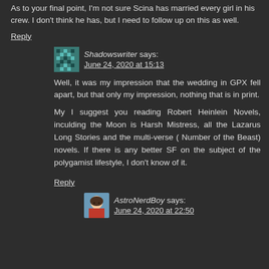As to your final point, I'm not sure Scina has married every girl in his crew. I don't think he has, but I need to follow up on this as well.
Reply
Shadowswriter says:
June 24, 2020 at 15:13
Well, it was my impression that the wedding in GPX fell apart, but that only my impression, nothing that is in print.
My I suggest you reading Robert Heinlein Novels, inculding the Moon is Harsh Mistress, all the Lazarus Long Stories and the multi-verse ( Number of the Beast) novels. If there is any better SF on the subject of the polygamist lifestyle, I don't know of it.
Reply
AstroNerdBoy says:
June 24, 2020 at 22:50